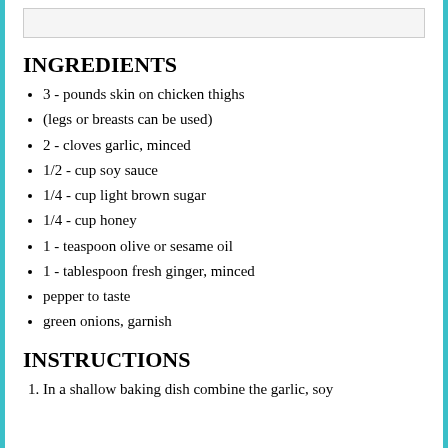[Figure (other): Top image box placeholder (light gray bordered rectangle)]
INGREDIENTS
3 - pounds skin on chicken thighs
(legs or breasts can be used)
2 - cloves garlic, minced
1/2 - cup soy sauce
1/4 - cup light brown sugar
1/4 - cup honey
1 - teaspoon olive or sesame oil
1 - tablespoon fresh ginger, minced
pepper to taste
green onions, garnish
INSTRUCTIONS
In a shallow baking dish combine the garlic, soy